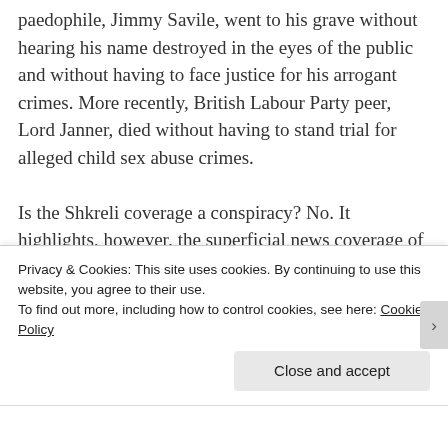paedophile, Jimmy Savile, went to his grave without hearing his name destroyed in the eyes of the public and without having to face justice for his arrogant crimes. More recently, British Labour Party peer, Lord Janner, died without having to stand trial for alleged child sex abuse crimes.

Is the Shkreli coverage a conspiracy? No. It highlights, however, the superficial news coverage of every day issues that greet the
Privacy & Cookies: This site uses cookies. By continuing to use this website, you agree to their use.
To find out more, including how to control cookies, see here: Cookie Policy